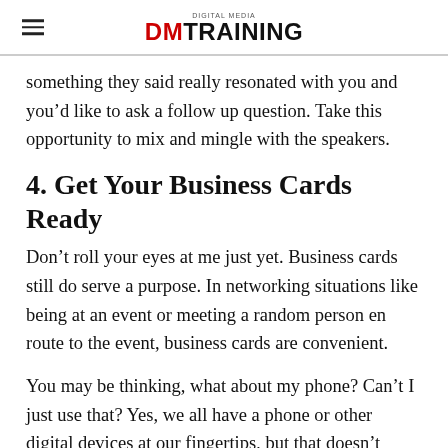DIGITAL MEDIA DM TRAINING
something they said really resonated with you and you'd like to ask a follow up question. Take this opportunity to mix and mingle with the speakers.
4. Get Your Business Cards Ready
Don’t roll your eyes at me just yet. Business cards still do serve a purpose. In networking situations like being at an event or meeting a random person en route to the event, business cards are convenient.
You may be thinking, what about my phone? Can’t I just use that? Yes, we all have a phone or other digital devices at our fingertips, but that doesn’t necessarily